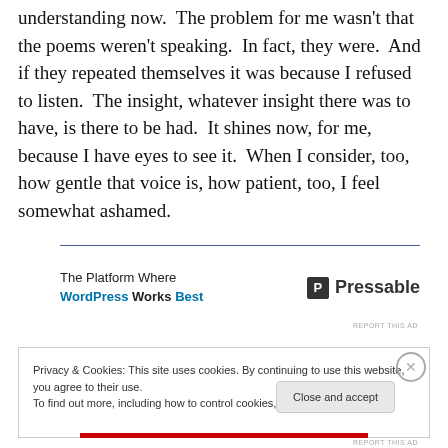understanding now.  The problem for me wasn't that the poems weren't speaking.  In fact, they were.  And if they repeated themselves it was because I refused to listen.  The insight, whatever insight there was to have, is there to be had.  It shines now, for me, because I have eyes to see it.  When I consider, too, how gentle that voice is, how patient, too, I feel somewhat ashamed.
[Figure (other): Pressable advertisement: 'The Platform Where WordPress Works Best' with Pressable logo]
Privacy & Cookies: This site uses cookies. By continuing to use this website, you agree to their use.
To find out more, including how to control cookies, see here: Cookie Policy
Close and accept